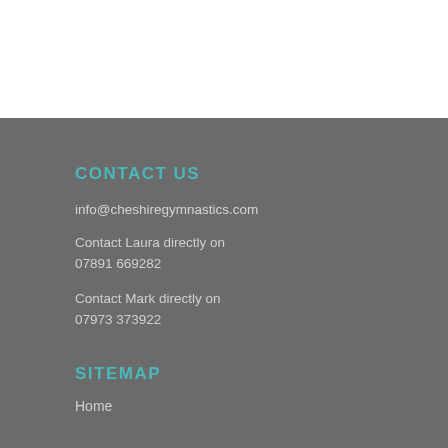CONTACT US
info@cheshiregymnastics.com
Contact Laura directly on
07891 669282
Contact Mark directly on
07973 373922
SITEMAP
Home